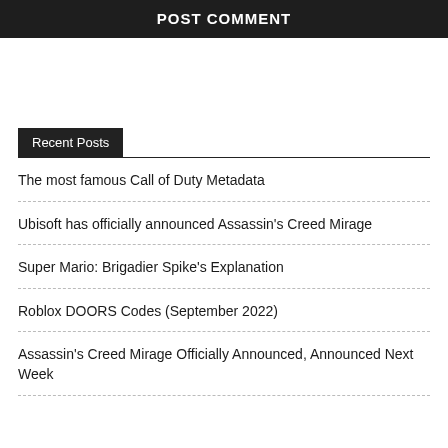POST COMMENT
Recent Posts
The most famous Call of Duty Metadata
Ubisoft has officially announced Assassin's Creed Mirage
Super Mario: Brigadier Spike's Explanation
Roblox DOORS Codes (September 2022)
Assassin's Creed Mirage Officially Announced, Announced Next Week